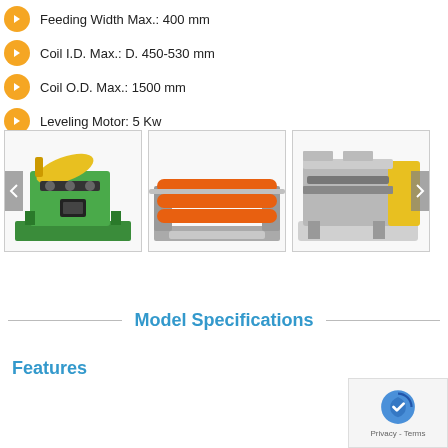Feeding Width Max.: 400 mm
Coil I.D. Max.: D. 450-530 mm
Coil O.D. Max.: 1500 mm
Leveling Motor: 5 Kw
[Figure (photo): Green metal coil straightening/feeding machine with yellow arm]
[Figure (photo): Industrial coil feeder machine with orange rollers on a metal frame]
[Figure (photo): Yellow and grey industrial sheet cutting/leveling machine]
Model Specifications
Features